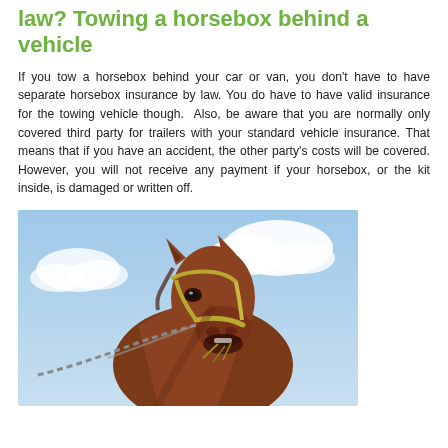law? Towing a horsebox behind a vehicle
If you tow a horsebox behind your car or van, you don't have to have separate horsebox insurance by law. You do have to have valid insurance for the towing vehicle though.  Also, be aware that you are normally only covered third party for trailers with your standard vehicle insurance. That means that if you have an accident, the other party's costs will be covered. However, you will not receive any payment if your horsebox, or the kit inside, is damaged or written off.
[Figure (photo): Close-up photo of a brown horse with a yellow halter and chain lead, photographed from below against a partly cloudy blue sky.]